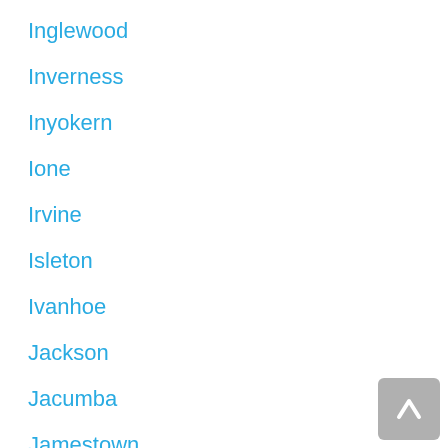Inglewood
Inverness
Inyokern
Ione
Irvine
Isleton
Ivanhoe
Jackson
Jacumba
Jamestown